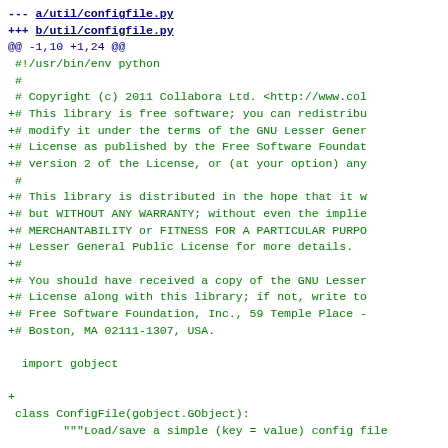--- a/util/configfile.py
+++ b/util/configfile.py
@@ -1,10 +1,24 @@
 #!/usr/bin/env python
 #
 # Copyright (c) 2011 Collabora Ltd. <http://www.col
+# This library is free software; you can redistribu
+# modify it under the terms of the GNU Lesser Gener
+# License as published by the Free Software Foundat
+# version 2 of the License, or (at your option) any
 #
+# This library is distributed in the hope that it w
+# but WITHOUT ANY WARRANTY; without even the implie
+# MERCHANTABILITY or FITNESS FOR A PARTICULAR PURPO
+# Lesser General Public License for more details.
+#
+# You should have received a copy of the GNU Lesser
+# License along with this library; if not, write to
+# Free Software Foundation, Inc., 59 Temple Place -
+# Boston, MA 02111-1307, USA.

 import gobject

+
 class ConfigFile(gobject.GObject):
     """Load/save a simple (key = value) config file

@@ -15,7 +29,7 @@ class ConfigFile(gobject.GObject):
                                         ()),
         }